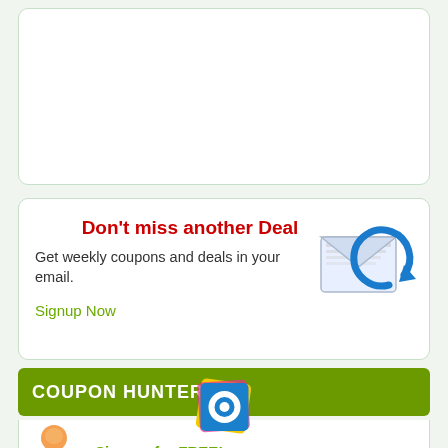[Figure (other): White rounded box, blank content area at top of page]
Don't miss another Deal
Get weekly coupons and deals in your email.
Signup Now
[Figure (illustration): Email envelope with blue circular arrow icon]
COUPON HUNTERS
[Figure (illustration): Person/user clip-art icon in blue and orange]
Sign up for FREE!
[Figure (logo): Colorful square logo with circular design at bottom of page]